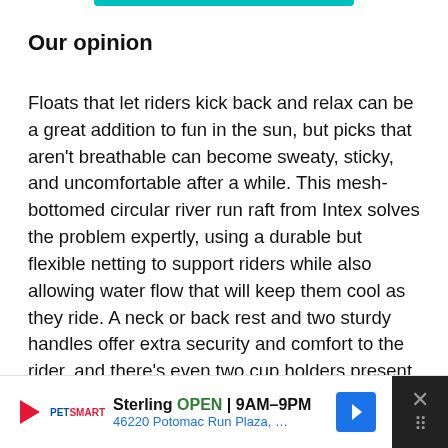Our opinion
Floats that let riders kick back and relax can be a great addition to fun in the sun, but picks that aren't breathable can become sweaty, sticky, and uncomfortable after a while. This mesh-bottomed circular river run raft from Intex solves the problem expertly, using a durable but flexible netting to support riders while also allowing water flow that will keep them cool as they ride. A neck or back rest and two sturdy handles offer extra security and comfort to the rider, and there's even two cup holders present on this raft for their drink of choice.
What they'll love:
[Figure (other): Advertisement banner for PetSmart in Sterling showing OPEN 9AM-9PM and address 46220 Potomac Run Plaza with navigation arrow icon and close button]